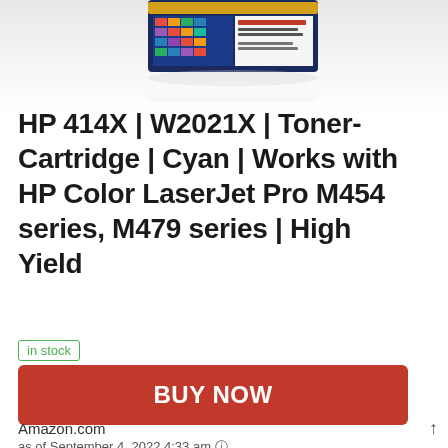[Figure (screenshot): Partial product image of HP toner cartridge package showing colorful design with text, partially visible at top of page with reflection effect]
HP 414X | W2021X | Toner-Cartridge | Cyan | Works with HP Color LaserJet Pro M454 series, M479 series | High Yield
in stock
BUY NOW
Amazon.com
as of September 4, 2022 4:33 am